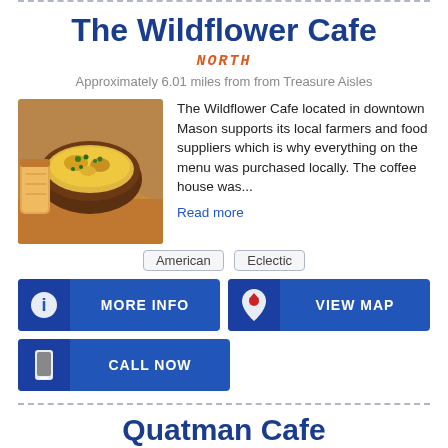The Wildflower Cafe
NORTH
Approximately 6.01 miles from from Treasure Aisles
[Figure (photo): Photo of a baked egg or casserole dish in an oval crock, topped with melted cheese and herbs, served with bread]
The Wildflower Cafe located in downtown Mason supports its local farmers and food suppliers which is why everything on the menu was purchased locally. The coffee house was... Read more
American
Eclectic
MORE INFO
VIEW MAP
CALL NOW
Quatman Cafe